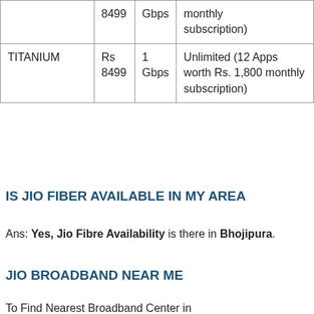|  | Price | Speed | Data/OTT |
| --- | --- | --- | --- |
|  | 8499 | Gbps | monthly subscription) |
| TITANIUM | Rs 8499 | 1 Gbps | Unlimited (12 Apps worth Rs. 1,800 monthly subscription) |
IS JIO FIBER AVAILABLE IN MY AREA
Ans: Yes, Jio Fibre Availability is there in Bhojipura.
JIO BROADBAND NEAR ME
To Find Nearest Broadband Center in